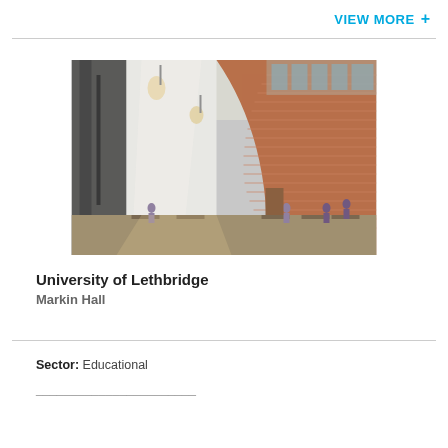VIEW MORE +
[Figure (photo): Interior architectural rendering of University of Lethbridge Markin Hall showing a large atrium with high ceilings, pendant lights, brick/terracotta curved wall with horizontal slats, structural columns, and students sitting at tables on the ground floor.]
University of Lethbridge
Markin Hall
Sector: Educational